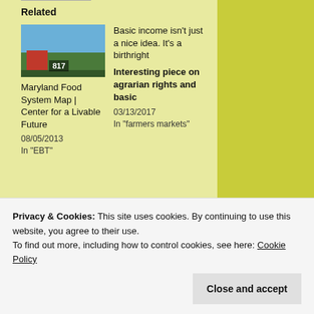Related
[Figure (photo): Thumbnail image of Maryland Food System Map showing aerial farm view with number 817]
Maryland Food System Map | Center for a Livable Future
08/05/2013
In "EBT"
Basic income isn't just a nice idea. It's a birthright
Interesting piece on agrarian rights and basic
03/13/2017
In "farmers markets"
As Farm to
Privacy & Cookies: This site uses cookies. By continuing to use this website, you agree to their use.
To find out more, including how to control cookies, see here: Cookie Policy